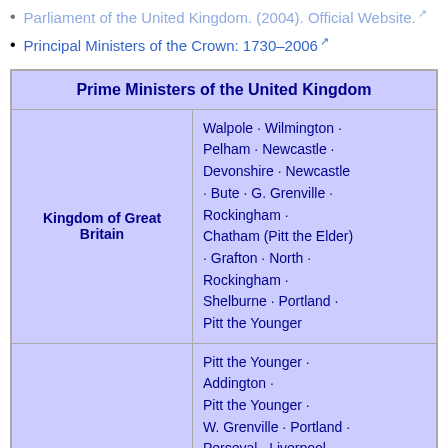Parliament of the United Kingdom. (2004). Official Website.
Principal Ministers of the Crown: 1730–2006
| Prime Ministers of the United Kingdom |
| --- |
| Kingdom of Great Britain | Walpole · Wilmington · Pelham · Newcastle · Devonshire · Newcastle · Bute · G. Grenville · Rockingham · Chatham (Pitt the Elder) · Grafton · North · Rockingham · Shelburne · Portland · Pitt the Younger |
|  | Pitt the Younger · Addington · Pitt the Younger · W. Grenville · Portland · Perceval · Liverpool · Canning · Goderich · Wellington · Grey · Melbourne · Wellington · Peel · Melbourne · Peel · Russell · Derby · |